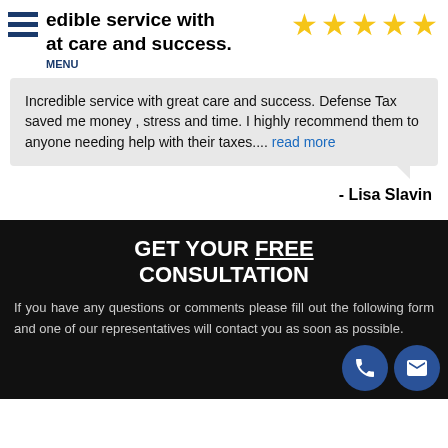Incredible service with great care and success.
Incredible service with great care and success. Defense Tax saved me money , stress and time. I highly recommend them to anyone needing help with their taxes.... read more
- Lisa Slavin
GET YOUR FREE CONSULTATION
If you have any questions or comments please fill out the following form and one of our representatives will contact you as soon as possible.